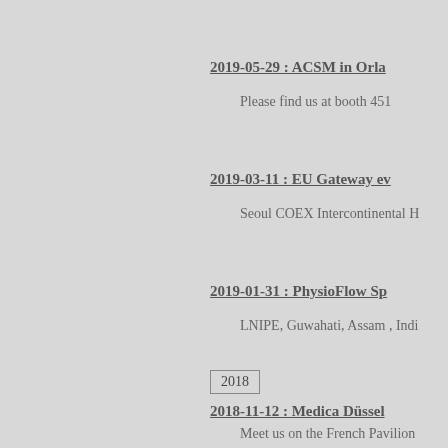2019-05-29 : ACSM in Orla…
Please find us at booth 451
2019-03-11 : EU Gateway ev…
Seoul COEX Intercontinental H…
2019-01-31 : PhysioFlow Sp…
LNIPE, Guwahati, Assam , Indi…
2018
2018-11-12 : Medica Düssel…
Meet us on the French Pavilion…
2018-08-28 : European Soci…